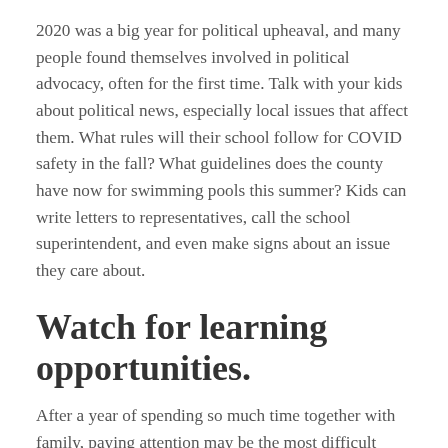2020 was a big year for political upheaval, and many people found themselves involved in political advocacy, often for the first time. Talk with your kids about political news, especially local issues that affect them. What rules will their school follow for COVID safety in the fall? What guidelines does the county have now for swimming pools this summer? Kids can write letters to representatives, call the school superintendent, and even make signs about an issue they care about.
Watch for learning opportunities.
After a year of spending so much time together with family, paying attention may be the most difficult thing to do this summer  – but it's by far the most important. Curiosity and interest are the biggest drivers of learning, and if you want to help your kids to learn in summer, you have to stay close to them.